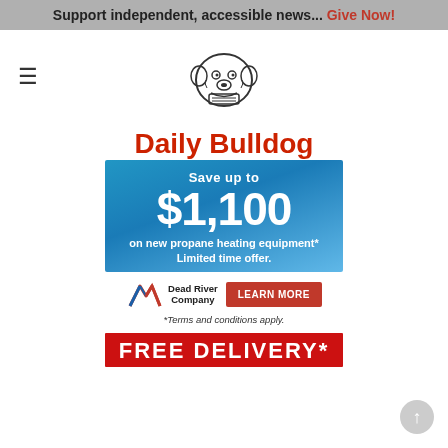Support independent, accessible news... Give Now!
[Figure (logo): Daily Bulldog newspaper logo with bulldog illustration holding a newspaper]
Daily Bulldog
[Figure (other): Advertisement: Save up to $1,100 on new propane heating equipment*. Limited time offer. Dead River Company. LEARN MORE. *Terms and conditions apply.]
[Figure (other): FREE DELIVERY* advertisement banner (partially visible at bottom)]